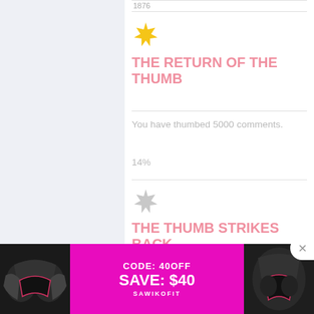1876
[Figure (illustration): Yellow/gold star badge icon]
THE RETURN OF THE THUMB
You have thumbed 5000 comments.
14%
[Figure (illustration): Gray/silver star badge icon (locked/inactive)]
THE THUMB STRIKES BACK
You have left your thumbprint
[Figure (infographic): Advertisement banner: CODE: 40OFF, SAVE: $40, SAWIKOFIT with lingerie images on sides]